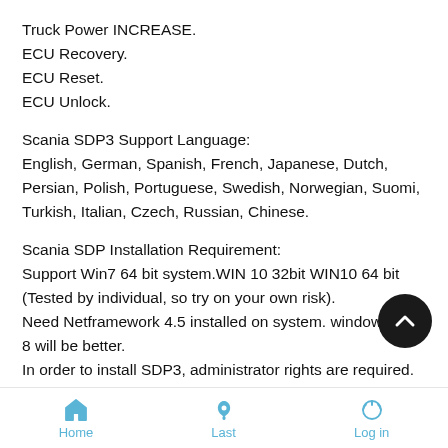Truck Power INCREASE.
ECU Recovery.
ECU Reset.
ECU Unlock.
Scania SDP3 Support Language:
English, German, Spanish, French, Japanese, Dutch, Persian, Polish, Portuguese, Swedish, Norwegian, Suomi, Turkish, Italian, Czech, Russian, Chinese.
Scania SDP Installation Requirement:
Support Win7 64 bit system.WIN 10 32bit WIN10 64 bit (Tested by individual, so try on your own risk).
Need Netframework 4.5 installed on system. windows 7 or 8 will be better.
In order to install SDP3, administrator rights are required.
Note: The USB key and VCI must not be connected to the
Home | Last | Log in